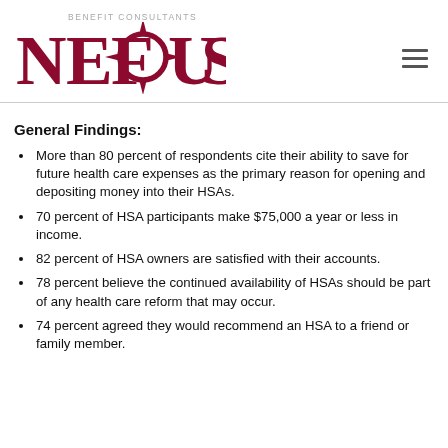BENEFIT CONSULTANTS NEFOUSE
General Findings:
More than 80 percent of respondents cite their ability to save for future health care expenses as the primary reason for opening and depositing money into their HSAs.
70 percent of HSA participants make $75,000 a year or less in income.
82 percent of HSA owners are satisfied with their accounts.
78 percent believe the continued availability of HSAs should be part of any health care reform that may occur.
74 percent agreed they would recommend an HSA to a friend or family member.